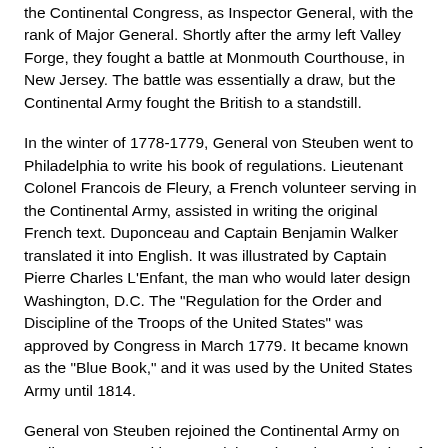the Continental Congress, as Inspector General, with the rank of Major General. Shortly after the army left Valley Forge, they fought a battle at Monmouth Courthouse, in New Jersey. The battle was essentially a draw, but the Continental Army fought the British to a standstill.
In the winter of 1778-1779, General von Steuben went to Philadelphia to write his book of regulations. Lieutenant Colonel Francois de Fleury, a French volunteer serving in the Continental Army, assisted in writing the original French text. Duponceau and Captain Benjamin Walker translated it into English. It was illustrated by Captain Pierre Charles L'Enfant, the man who would later design Washington, D.C. The "Regulation for the Order and Discipline of the Troops of the United States" was approved by Congress in March 1779. It became known as the "Blue Book," and it was used by the United States Army until 1814.
General von Steuben rejoined the Continental Army on April 27, 1779, and he served throughout the remainder of the war. He was